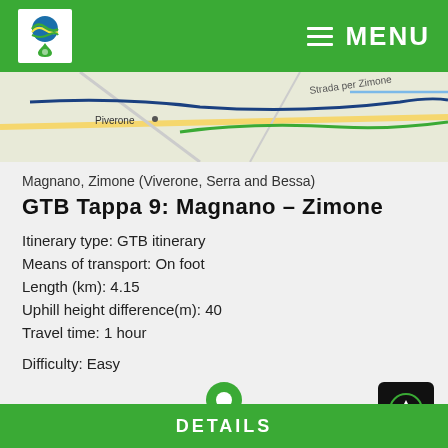MENU
[Figure (map): Partial map showing Piverone and Strada per Zimone area with route overlay]
Magnano, Zimone (Viverone, Serra and Bessa)
GTB Tappa 9: Magnano - Zimone
Itinerary type: GTB itinerary
Means of transport: On foot
Length (km): 4.15
Uphill height difference(m): 40
Travel time: 1 hour
Difficulty: Easy
See on map
DETAILS